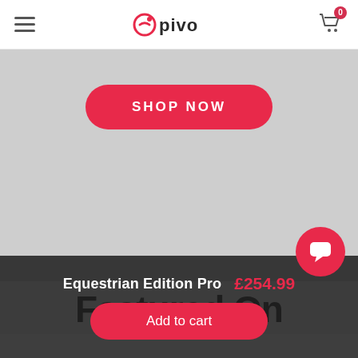Pivo (logo) — navigation header with hamburger menu and cart (0 items)
[Figure (screenshot): Large grey hero banner area with a red 'SHOP NOW' pill button centered near the top]
SHOP NOW
Featured On
Equestrian Edition Pro  £254.99
Add to cart